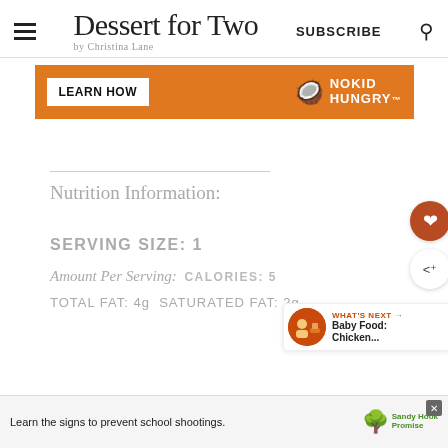Dessert for Two by Christina Lane | SUBSCRIBE
[Figure (screenshot): Orange banner advertisement for No Kid Hungry with 'LEARN HOW' button on left and No Kid Hungry logo/text on right]
Nutrition Information:
SERVING SIZE: 1
Amount Per Serving:  CALORIES: 5
TOTAL FAT: 4g  SATURATED FAT: 2g
[Figure (screenshot): Bottom advertisement banner - 'Learn the signs to prevent school shootings.' with Sandy Hook Promise logo]
[Figure (screenshot): What's Next sidebar widget showing Baby Food: Chicken...]